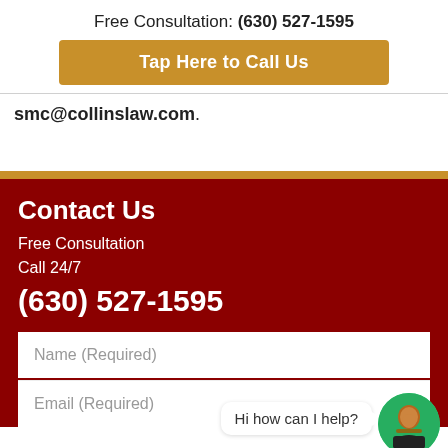Free Consultation: (630) 527-1595
Tap Here to Call Us
smc@collinslaw.com.
Contact Us
Free Consultation
Call 24/7
(630) 527-1595
[Figure (screenshot): Web form with Name (Required) and Email (Required) fields, with a chat widget showing 'Hi how can I help?' and an avatar]